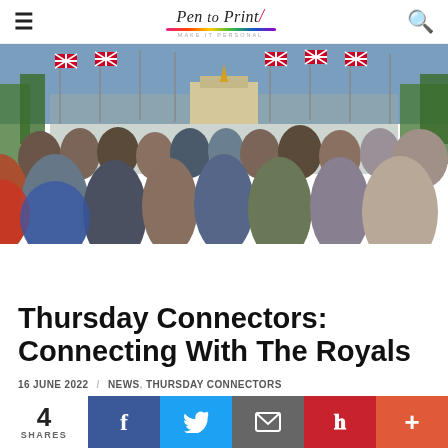Pen to Print — navigation header with logo and search
[Figure (photo): Crowd of people lining The Mall in London with Union Jack flags hanging from lampposts and Buckingham Palace visible in the background, celebrating a royal event.]
Thursday Connectors: Connecting With The Royals
16 JUNE 2022 / NEWS, THURSDAY CONNECTORS
4 SHARES — social share buttons: Facebook, Twitter, Email, Pinterest, More